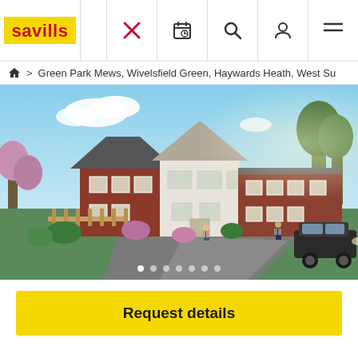savills
Green Park Mews, Wivelsfield Green, Haywards Heath, West Su
[Figure (photo): Architectural rendering of Green Park Mews residential development showing brick and white-clad houses with gardens, driveway, parked car and people walking]
Request details